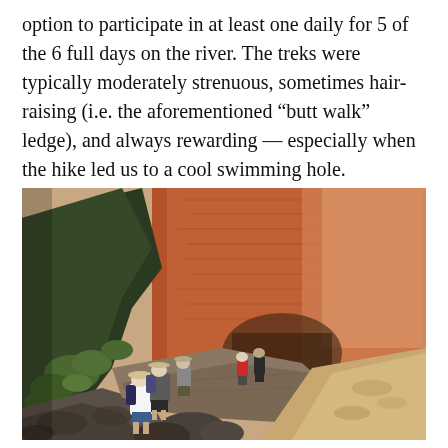option to participate in at least one daily for 5 of the 6 full days on the river. The treks were typically moderately strenuous, sometimes hair-raising (i.e. the aforementioned “butt walk” ledge), and always rewarding — especially when the hike led us to a cool swimming hole.
[Figure (photo): Group of hikers walking along a rocky canyon trail with large red sandstone cliff walls rising in the background. Several people with backpacks traverse a steep rocky slope. Desert scrub vegetation visible on the left. Canyon floor and sandy terrain visible in the distance.]